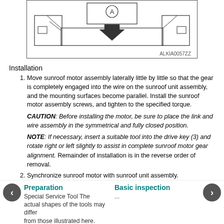[Figure (engineering-diagram): Technical diagram of sunroof motor assembly installation, showing part labeled A with a downward arrow indicating installation direction. Code ALKIA0057ZZ shown at bottom right.]
Installation
Move sunroof motor assembly laterally little by little so that the gear is completely engaged into the wire on the sunroof unit assembly, and the mounting surfaces become parallel. Install the sunroof motor assembly screws, and tighten to the specified torque.

CAUTION: Before installing the motor, be sure to place the link and wire assembly in the symmetrical and fully closed position.

NOTE: If necessary, insert a suitable tool into the drive key (3) and rotate right or left slightly to assist in complete sunroof motor gear alignment. Remainder of installation is in the reverse order of removal.
Synchronize sunroof motor with sunroof unit assembly.
Preparation  Special Service Tool The actual shapes of the tools may differ from those illustrated here. ... Basic inspection